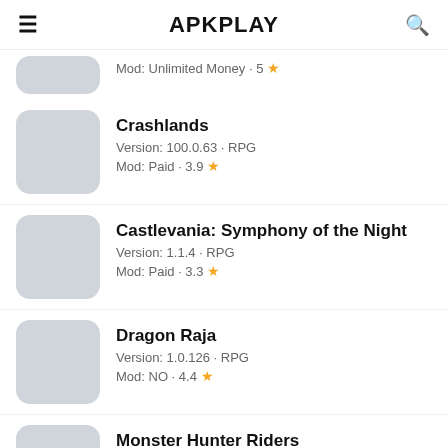APKPLAY
Mod: Unlimited Money · 5 ★
Crashlands
Version: 100.0.63 · RPG
Mod: Paid · 3.9 ★
Castlevania: Symphony of the Night
Version: 1.1.4 · RPG
Mod: Paid · 3.3 ★
Dragon Raja
Version: 1.0.126 · RPG
Mod: NO · 4.4 ★
Monster Hunter Riders
Version: 3.02.01 · RPG
Mod: Menu MOD · 4.1 ★
More from Developer